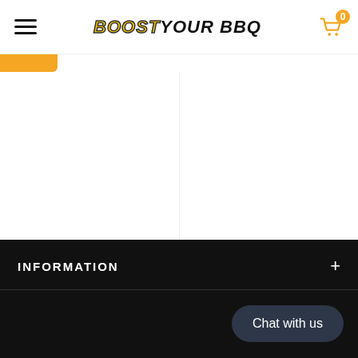BOOST YOUR BBQ
Backyard Triple Threat
$26.97  $24.00
Boost Your BBQ Multi Purpose Rub
$8.99
INFORMATION
Chat with us